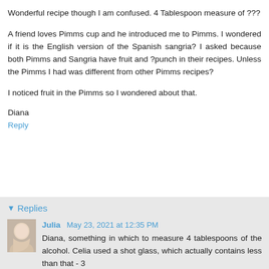Wonderful recipe though I am confused. 4 Tablespoon measure of ???
A friend loves Pimms cup and he introduced me to Pimms. I wondered if it is the English version of the Spanish sangria? I asked because both Pimms and Sangria have fruit and ?punch in their recipes. Unless the Pimms I had was different from other Pimms recipes?
I noticed fruit in the Pimms so I wondered about that.
Diana
Reply
Replies
Julia May 23, 2021 at 12:35 PM
Diana, something in which to measure 4 tablespoons of the alcohol. Celia used a shot glass, which actually contains less than that - 3